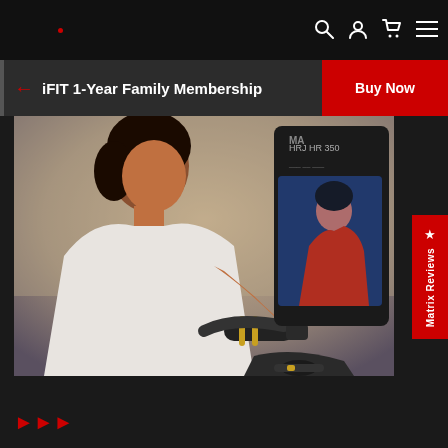Navigation bar with search, account, cart, and menu icons
iFIT 1-Year Family Membership
Buy Now
[Figure (photo): Woman smiling on exercise bike looking at screen showing a fitness instructor video, the bike display shows workout metrics, NordicTrack/iFIT style equipment]
★ Matrix Reviews